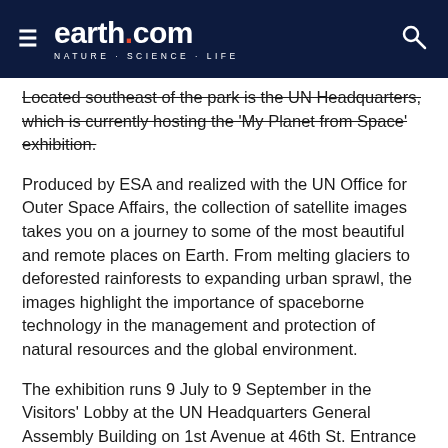earth.com — NATURE · SCIENCE · LIFE
Located southeast of the park is the UN Headquarters, which is currently hosting the 'My Planet from Space' exhibition.
Produced by ESA and realized with the UN Office for Outer Space Affairs, the collection of satellite images takes you on a journey to some of the most beautiful and remote places on Earth. From melting glaciers to deforested rainforests to expanding urban sprawl, the images highlight the importance of spaceborne technology in the management and protection of natural resources and the global environment.
The exhibition runs 9 July to 9 September in the Visitors' Lobby at the UN Headquarters General Assembly Building on 1st Avenue at 46th St. Entrance is free of charge.